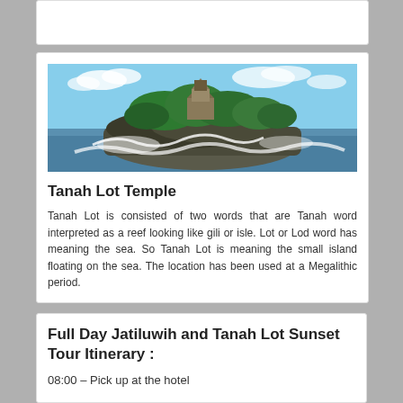[Figure (photo): Tanah Lot Temple — a rocky island with lush green trees and a traditional Balinese temple structure, surrounded by ocean waves crashing against the rock, with a blue sky and clouds in the background.]
Tanah Lot Temple
Tanah Lot is consisted of two words that are Tanah word interpreted as a reef looking like gili or isle. Lot or Lod word has meaning the sea. So Tanah Lot is meaning the small island floating on the sea. The location has been used at a Megalithic period.
Full Day Jatiluwih and Tanah Lot Sunset Tour Itinerary :
08:00 – Pick up at the hotel